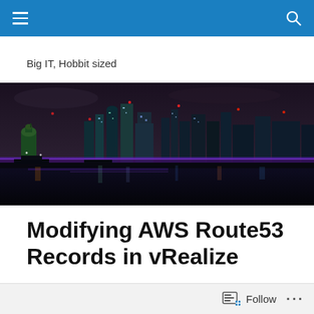Navigation bar with hamburger menu and search icon
Big IT, Hobbit sized
[Figure (photo): Night panoramic photo of the London city skyline reflected in the River Thames, with illuminated bridges and colorful city lights.]
Modifying AWS Route53 Records in vRealize
Follow ...